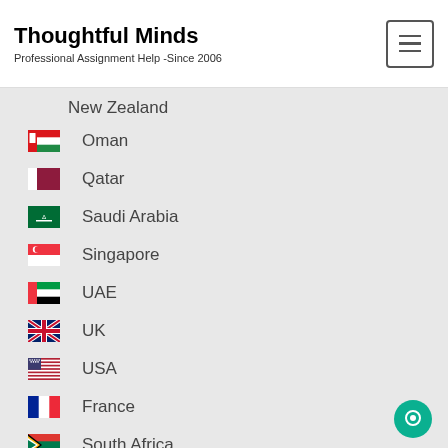Thoughtful Minds
Professional Assignment Help -Since 2006
New Zealand
Oman
Qatar
Saudi Arabia
Singapore
UAE
UK
USA
France
South Africa